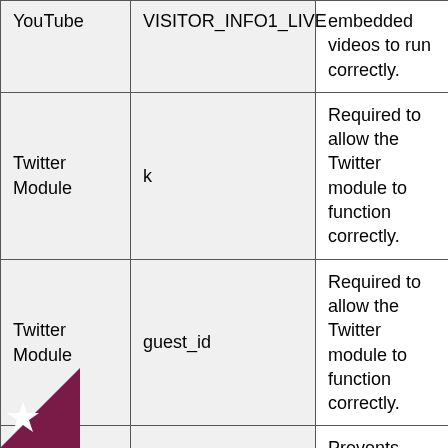|  |  |  |
| --- | --- | --- |
| YouTube | VISITOR_INFO1_LIVE | embedded videos to run correctly. |
| Twitter Module | k | Required to allow the Twitter module to function correctly. |
| Twitter Module | guest_id | Required to allow the Twitter module to function correctly. |
| Website CMS | crfstoken | Prevents cross site request forgery. |